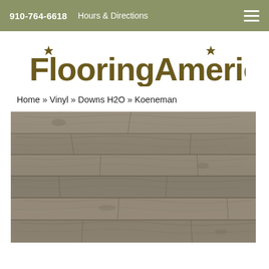910-764-6618   Hours & Directions
[Figure (logo): FlooringAmerica logo with star decorations on letters F and A]
Home » Vinyl » Downs H2O » Koeneman
[Figure (photo): Close-up photo of Koeneman vinyl flooring with wood grain texture in gray-brown tones]